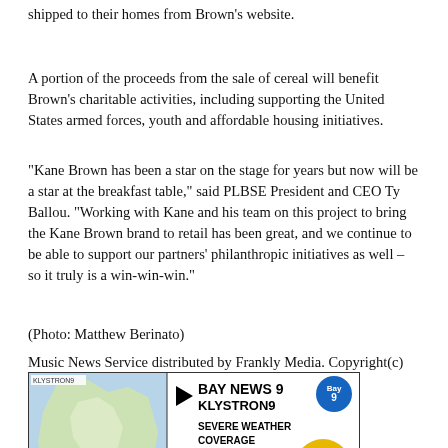shipped to their homes from Brown's website.
A portion of the proceeds from the sale of cereal will benefit Brown's charitable activities, including supporting the United States armed forces, youth and affordable housing initiatives.
“Kane Brown has been a star on the stage for years but now will be a star at the breakfast table,” said PLBSE President and CEO Ty Ballou. “Working with Kane and his team on this project to bring the Kane Brown brand to retail has been great, and we continue to be able to support our partners’ philanthropic initiatives as well – so it truly is a win-win-win.”
(Photo: Matthew Berinato)
Music News Service distributed by Frankly Media. Copyright(c) 2022 RTTNews.com. All Rights Reserved
[Figure (screenshot): Bay News 9 Klystron9 Severe Weather Coverage advertisement with a map on the left and text/logos on the right, including 97.5 WPCО radio logo]